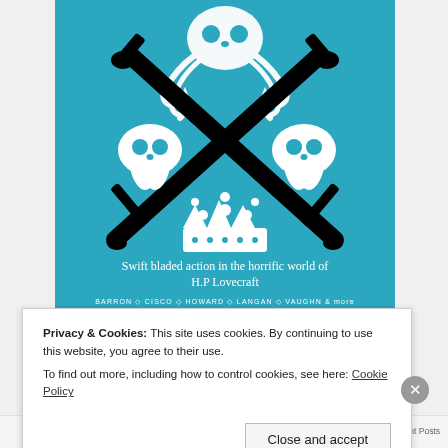[Figure (illustration): Book cover with teal background featuring crossed swords, octopus skull at top, two smaller skulls on sides, and a decorative crown at bottom center. White illustrated artwork on teal (#2ba8c0) background. Subtitle text reads 'Swift bladed action in the horrific world of H.P Lovecraft'. Authors listed: BARRON, CISCO, HOWARD, LANGAN, VAUGHN & more.]
Privacy & Cookies: This site uses cookies. By continuing to use this website, you agree to their use.
To find out more, including how to control cookies, see here: Cookie Policy
Close and accept